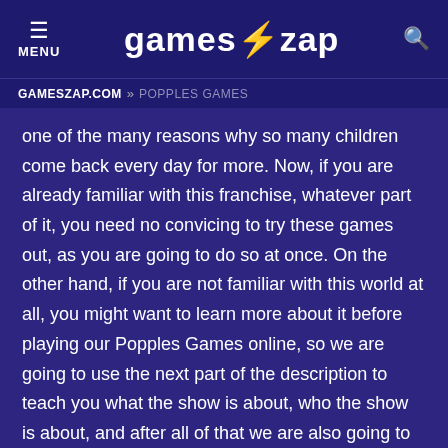MENU | games⚡zap
GAMESZAP.COM » POPPLES GAMES
one of the many reasons why so many children come back every day for more. Now, if you are already familiar with this franchise, whatever part of it, you need no convicing to try these games out, as you are going to do so at once. On the other hand, if you are not familiar with this world at all, you might want to learn more about it before playing our Popples Games online, so we are going to use the next part of the description to teach you what the show is about, who the show is about, and after all of that we are also going to tell you what kinds of free Popples Games you are going to be able to play here, and we are sure that will only make you even more interested in the category. Well, as we said, the show is based on a series of toys, and the main toys in the line have been adapted into animated